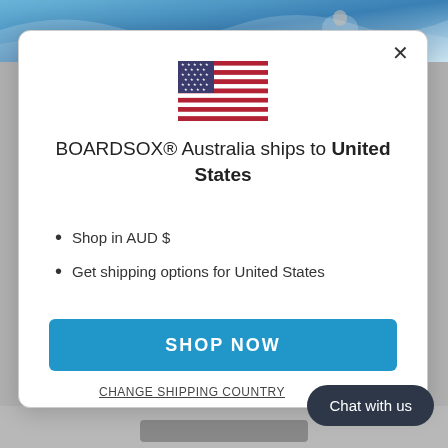[Figure (screenshot): Background top: ocean/water action photo strip]
[Figure (illustration): US flag SVG inline in modal dialog]
BOARDSOX® Australia ships to United States
Shop in AUD $
Get shipping options for United States
SHOP NOW
CHANGE SHIPPING COUNTRY
Chat with us